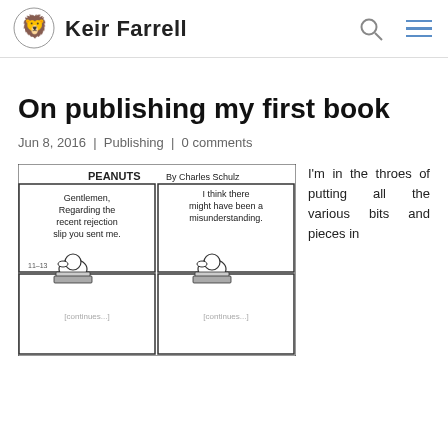Keir Farrell
On publishing my first book
Jun 8, 2016  |  Publishing  |  0 comments
[Figure (illustration): Peanuts comic strip by Charles Schulz showing Snoopy at a typewriter in two panels. First panel: 'Gentlemen, Regarding the recent rejection slip you sent me.' Second panel: 'I think there might have been a misunderstanding.' Dated 11-13.]
I'm in the throes of putting all the various bits and pieces in